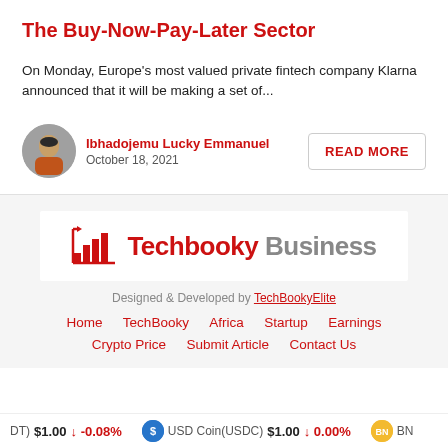The Buy-Now-Pay-Later Sector
On Monday, Europe's most valued private fintech company Klarna announced that it will be making a set of...
Ibhadojemu Lucky Emmanuel
October 18, 2021
READ MORE
[Figure (logo): Techbooky Business logo with bar chart icon, text reads 'Techbooky Business']
Designed & Developed by TechBookyElite
Home   TechBooky   Africa   Startup   Earnings
Crypto Price   Submit Article   Contact Us
(DT) $1.00 ↓ -0.08%   USD Coin(USDC) $1.00 ↓ 0.00%   BN...